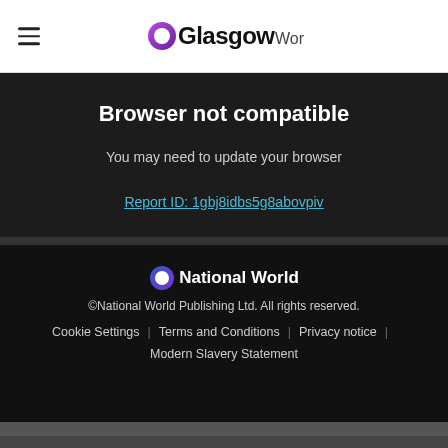GlasgowWorld
Browser not compatible
You may need to update your browser
Report ID: 1gbj8idbs5g8abovpiv
National World
©National World Publishing Ltd. All rights reserved.
Cookie Settings | Terms and Conditions | Privacy notice | Modern Slavery Statement